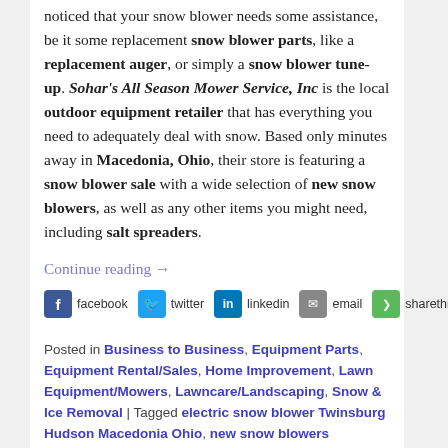noticed that your snow blower needs some assistance, be it some replacement snow blower parts, like a replacement auger, or simply a snow blower tune-up. Sohar's All Season Mower Service, Inc is the local outdoor equipment retailer that has everything you need to adequately deal with snow. Based only minutes away in Macedonia, Ohio, their store is featuring a snow blower sale with a wide selection of new snow blowers, as well as any other items you might need, including salt spreaders.
Continue reading →
[Figure (other): Social sharing buttons: facebook, twitter, linkedin, email, sharethis]
Posted in Business to Business, Equipment Parts, Equipment Rental/Sales, Home Improvement, Lawn Equipment/Mowers, Lawncare/Landscaping, Snow & Ice Removal | Tagged electric snow blower Twinsburg Hudson Macedonia Ohio, new snow blowers Twinsburg Hudson Macedonia Ohio, outdoor equipment retailer Twinsburg Hudson Macedonia Ohio, ...